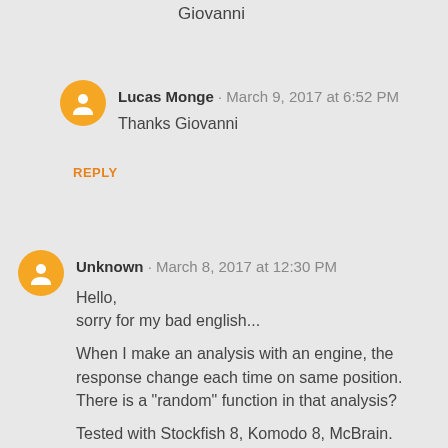Giovanni
Lucas Monge · March 9, 2017 at 6:52 PM
Thanks Giovanni
REPLY
Unknown · March 8, 2017 at 12:30 PM
Hello,
sorry for my bad english...

When I make an analysis with an engine, the response change each time on same position. There is a "random" function in that analysis?

Tested with Stockfish 8, Komodo 8, McBrain.

Thanks,